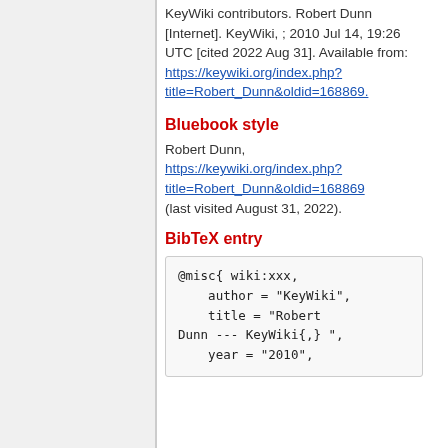KeyWiki contributors. Robert Dunn [Internet]. KeyWiki, ; 2010 Jul 14, 19:26 UTC [cited 2022 Aug 31]. Available from: https://keywiki.org/index.php?title=Robert_Dunn&oldid=168869.
Bluebook style
Robert Dunn, https://keywiki.org/index.php?title=Robert_Dunn&oldid=168869 (last visited August 31, 2022).
BibTeX entry
@misc{ wiki:xxx,
    author = "KeyWiki",
    title = "Robert Dunn --- KeyWiki{,} ",
    year = "2010",